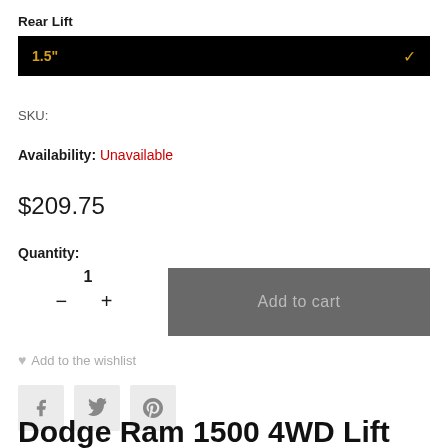Rear Lift
1.5"
SKU:
Availability: Unavailable
$209.75
Quantity:
1
Add to cart
Add to the wishlist
Dodge Ram 1500 4WD Lift